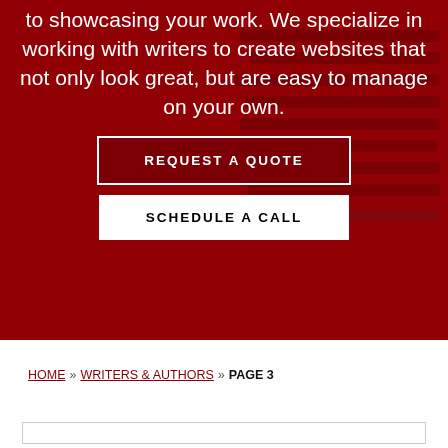[Figure (screenshot): Red-tinted hero background with laptop keyboard visible, overlaid with white centered text and two call-to-action buttons.]
to showcasing your work. We specialize in working with writers to create websites that not only look great, but are easy to manage on your own.
REQUEST A QUOTE
SCHEDULE A CALL
HOME » WRITERS & AUTHORS » PAGE 3